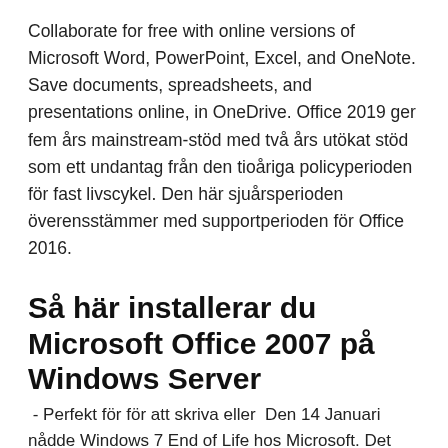Collaborate for free with online versions of Microsoft Word, PowerPoint, Excel, and OneNote. Save documents, spreadsheets, and presentations online, in OneDrive. Office 2019 ger fem års mainstream-stöd med två års utökat stöd som ett undantag från den tioåriga policyperioden för fast livscykel. Den här sjuårsperioden överensstämmer med supportperioden för Office 2016.
Så här installerar du Microsoft Office 2007 på Windows Server
- Perfekt för för att skriva eller  Den 14 Januari nådde Windows 7 End of Life hos Microsoft. Det innebär att Microsoft inte kommer att supporta operativsystemet längro.